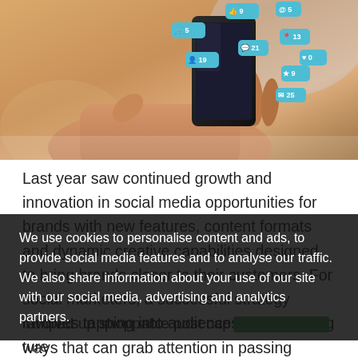[Figure (photo): Person holding a smartphone with social media notification icons (likes, comments, followers, messages) floating above the screen in blue speech-bubble style icons]
Last year saw continued growth and innovation in social media opportunities for brands with new features, content formats and dynamic creative capabilities designed to bring brands closer to their customers. For social marketers, a successful strategy involves tapping into audiences in compelling ways that can grab attention in passing moments.
We use cookies to personalise content and ads, to provide social media features and to analyse our traffic. We also share information about your use of our site with our social media, advertising and analytics partners.
ramped up shoppable post cap[...]ture